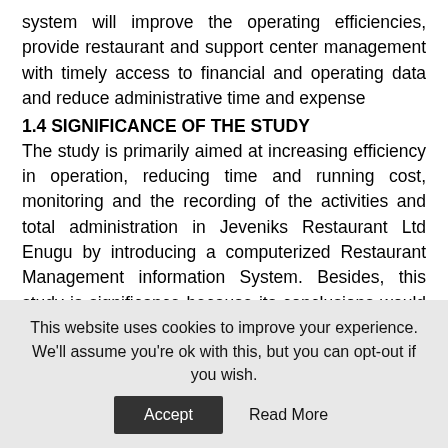system will improve the operating efficiencies, provide restaurant and support center management with timely access to financial and operating data and reduce administrative time and expense
1.4 SIGNIFICANCE OF THE STUDY
The study is primarily aimed at increasing efficiency in operation, reducing time and running cost, monitoring and the recording of the activities and total administration in Jeveniks Restaurant Ltd Enugu by introducing a computerized Restaurant Management information System. Besides, this study is significance because its conclusions would be useful to:
4
1. Human Resources Managers in the hotel and restaurants business 2. The Federal, State and Local Government
This website uses cookies to improve your experience. We'll assume you're ok with this, but you can opt-out if you wish. Accept Read More